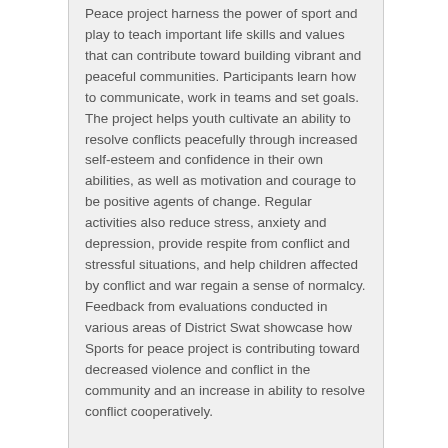Peace project harness the power of sport and play to teach important life skills and values that can contribute toward building vibrant and peaceful communities. Participants learn how to communicate, work in teams and set goals. The project helps youth cultivate an ability to resolve conflicts peacefully through increased self-esteem and confidence in their own abilities, as well as motivation and courage to be positive agents of change. Regular activities also reduce stress, anxiety and depression, provide respite from conflict and stressful situations, and help children affected by conflict and war regain a sense of normalcy. Feedback from evaluations conducted in various areas of District Swat showcase how Sports for peace project is contributing toward decreased violence and conflict in the community and an increase in ability to resolve conflict cooperatively.